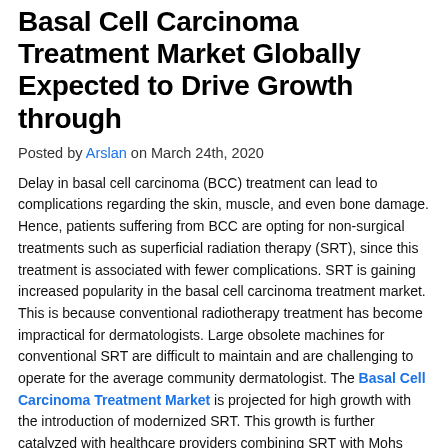Basal Cell Carcinoma Treatment Market Globally Expected to Drive Growth through
Posted by Arslan on March 24th, 2020
Delay in basal cell carcinoma (BCC) treatment can lead to complications regarding the skin, muscle, and even bone damage. Hence, patients suffering from BCC are opting for non-surgical treatments such as superficial radiation therapy (SRT), since this treatment is associated with fewer complications. SRT is gaining increased popularity in the basal cell carcinoma treatment market. This is because conventional radiotherapy treatment has become impractical for dermatologists. Large obsolete machines for conventional SRT are difficult to maintain and are challenging to operate for the average community dermatologist. The Basal Cell Carcinoma Treatment Market is projected for high growth with the introduction of modernized SRT. This growth is further catalyzed with healthcare providers combining SRT with Mohs surgery for the effective treatment of BCC.